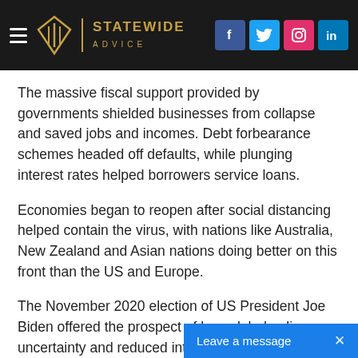Statewide Advice — website header with logo and social media icons (Facebook, Twitter, Instagram, LinkedIn)
The massive fiscal support provided by governments shielded businesses from collapse and saved jobs and incomes. Debt forbearance schemes headed off defaults, while plunging interest rates helped borrowers service loans.
Economies began to reopen after social distancing helped contain the virus, with nations like Australia, New Zealand and Asian nations doing better on this front than the US and Europe.
The November 2020 election of US President Joe Biden offered the prospect of less global policy uncertainty and reduced international tensions in 2021 and beyond.
[Figure (other): Leave a message chat button with close X]